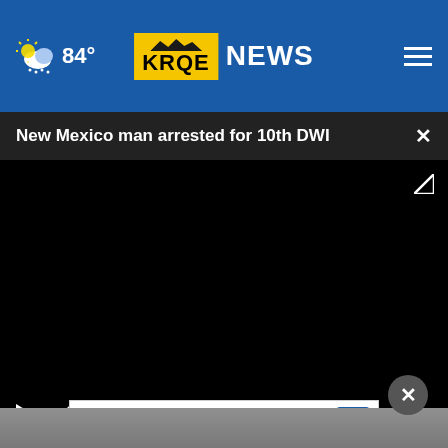84° KRQE NEWS
New Mexico man arrested for 10th DWI
[Figure (screenshot): Black video player with play button, mute button, and fullscreen expand icon]
[Figure (screenshot): Advertisement banner: Ashburn OPEN 10:30AM–9PM, 44155 Ashbrook Marketplace, ... with navigation arrow icon]
[Figure (photo): Partially visible image at bottom of page]